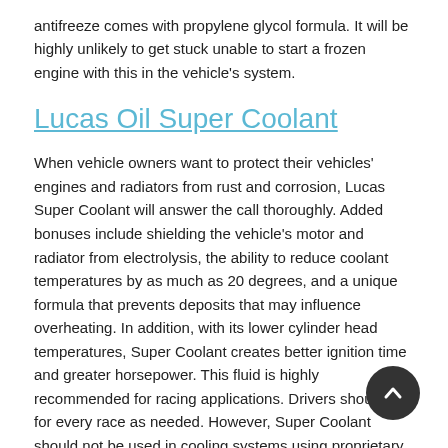antifreeze comes with propylene glycol formula. It will be highly unlikely to get stuck unable to start a frozen engine with this in the vehicle's system.
Lucas Oil Super Coolant
When vehicle owners want to protect their vehicles' engines and radiators from rust and corrosion, Lucas Super Coolant will answer the call thoroughly. Added bonuses include shielding the vehicle's motor and radiator from electrolysis, the ability to reduce coolant temperatures by as much as 20 degrees, and a unique formula that prevents deposits that may influence overheating. In addition, with its lower cylinder head temperatures, Super Coolant creates better ignition time and greater horsepower. This fluid is highly recommended for racing applications. Drivers should use for every race as needed. However, Super Coolant should not be used in cooling systems using proprietary or manufacturer specific coolants.
The executives and technological experts at 4Wheel Drive Hardware are fully aware of the benefits coolants and antifreezes provide for their